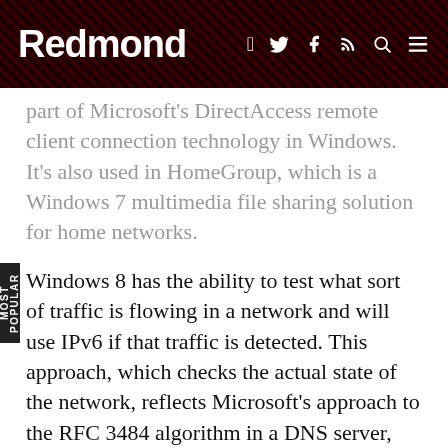Redmond
part of Microsoft's DirectAccess remote client connection technology in Windows. It's also used in HomeGroup, which is a Windows 7 multimedia file sharing solution for home networks.
Windows 8 has the ability to test what sort of traffic is flowing in a network and will use IPv6 if that traffic is detected. This approach, which checks the actual state of the network, reflects Microsoft's approach to the RFC 3484 algorithm in a DNS server, according to Microsoft's blog. The test for the IPv6 network is conducted when a network is first connected, but it will repeat in another 30 days' time. Other Microsoft products have supported IPv6 since 2007. Microsoft lists IPv6 support in its products at this page.
Some other text of Microsoft's leading...